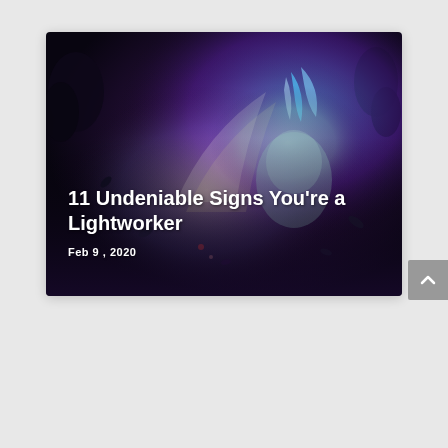[Figure (photo): A dark fantasy-style digital illustration of a woman with glowing blue and purple ethereal energy around her, with floating leaves and a cosmic background. Text overlay reads '11 Undeniable Signs You're a Lightworker' and 'Feb 9, 2020'.]
[Figure (other): A grey back-to-top button with an upward-pointing caret arrow on the right side of the page.]